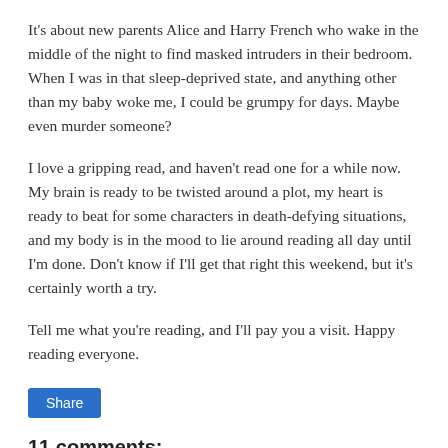It's about new parents Alice and Harry French who wake in the middle of the night to find masked intruders in their bedroom. When I was in that sleep-deprived state, and anything other than my baby woke me, I could be grumpy for days. Maybe even murder someone?
I love a gripping read, and haven't read one for a while now. My brain is ready to be twisted around a plot, my heart is ready to beat for some characters in death-defying situations, and my body is in the mood to lie around reading all day until I'm done. Don't know if I'll get that right this weekend, but it's certainly worth a try.
Tell me what you're reading, and I'll pay you a visit. Happy reading everyone.
[Figure (other): A blue 'Share' button]
11 comments: